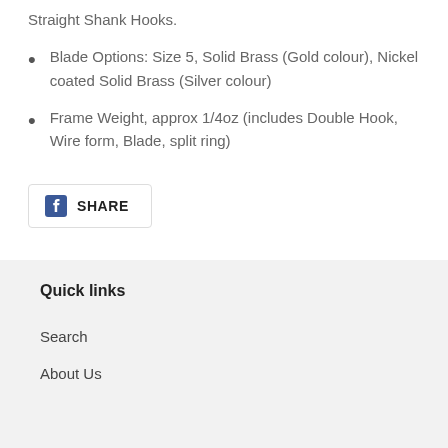Blade Options: Size 5, Solid Brass (Gold colour), Nickel coated Solid Brass (Silver colour)
Frame Weight, approx 1/4oz (includes Double Hook, Wire form, Blade, split ring)
SHARE
Quick links
Search
About Us